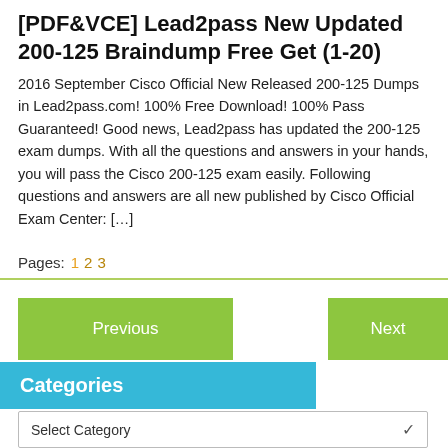[PDF&VCE] Lead2pass New Updated 200-125 Braindump Free Get (1-20)
2016 September Cisco Official New Released 200-125 Dumps in Lead2pass.com! 100% Free Download! 100% Pass Guaranteed! Good news, Lead2pass has updated the 200-125 exam dumps. With all the questions and answers in your hands, you will pass the Cisco 200-125 exam easily. Following questions and answers are all new published by Cisco Official Exam Center: [...]
Pages:  1 2 3
Previous
Next
Categories
Select Category